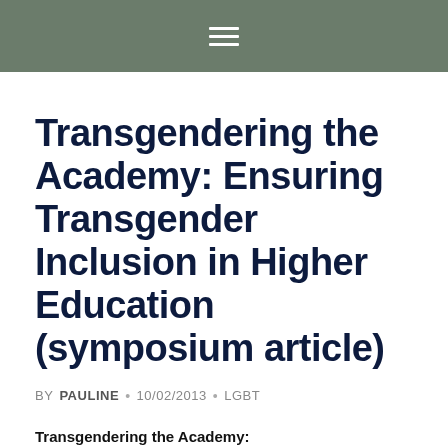☰
Transgendering the Academy: Ensuring Transgender Inclusion in Higher Education (symposium article)
BY PAULINE • 10/02/2013 • LGBT
Transgendering the Academy: